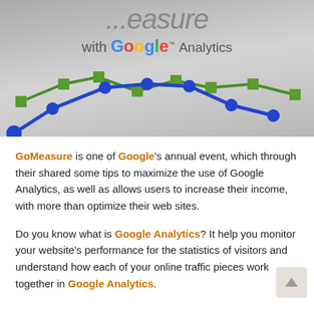[Figure (photo): Photo of a GoMeasure with Google Analytics banner/sign showing the text 'with Google Analytics' and a decorative line chart with blue circles and green squares as data points.]
GoMeasure is one of Google's annual event, which through their shared some tips to maximize the use of Google Analytics, as well as allows users to increase their income, with more than optimize their web sites.
Do you know what is Google Analytics? It help you monitor your website's performance for the statistics of visitors and understand how each of your online traffic pieces work together in Google Analytics.